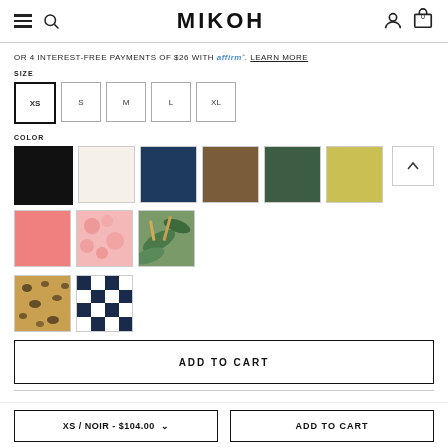MIKOH
OR 4 INTEREST-FREE PAYMENTS OF $26 WITH affirm. LEARN MORE
SIZE
XS S M L XL
COLOR
[Figure (other): Color swatches: black, cream, navy, brown, green, yellow-green, pink, floral pink, tropical print, leopard print, navy checker]
ADD TO CART
XS / NOIR - $104.00  ADD TO CART